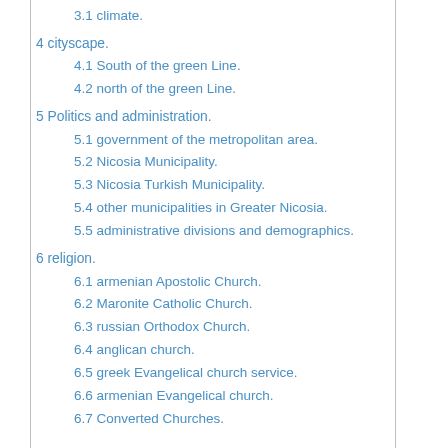3.1 climate.
4 cityscape.
4.1 South of the green Line.
4.2 north of the green Line.
5 Politics and administration.
5.1 government of the metropolitan area.
5.2 Nicosia Municipality.
5.3 Nicosia Turkish Municipality.
5.4 other municipalities in Greater Nicosia.
5.5 administrative divisions and demographics.
6 religion.
6.1 armenian Apostolic Church.
6.2 Maronite Catholic Church.
6.3 russian Orthodox Church.
6.4 anglican church.
6.5 greek Evangelical church service.
6.6 armenian Evangelical church.
6.7 Converted Churches.